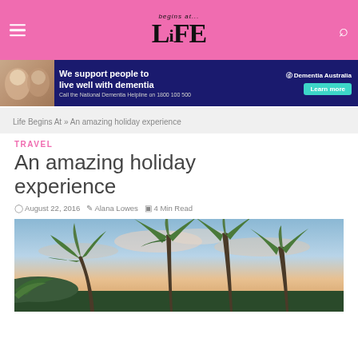Life Begins At — begins at... LiFE
[Figure (photo): Advertisement banner: Dementia Australia. Text reads 'We support people to live well with dementia. Call the National Dementia Helpline on 1800 100 500. Learn more.' with photo of two people.]
Life Begins At » An amazing holiday experience
TRAVEL
An amazing holiday experience
August 22, 2016   Alana Lowes   4 Min Read
[Figure (photo): Hero photograph showing tropical palm trees silhouetted against a sunset sky with pink and orange clouds.]